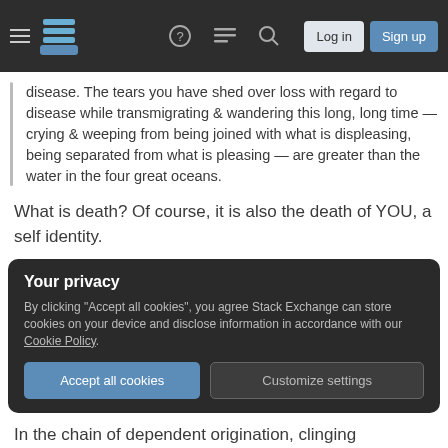Navigation bar with hamburger menu, logo, help, chat, search icons, Log in and Sign up buttons
disease. The tears you have shed over loss with regard to disease while transmigrating & wandering this long, long time — crying & weeping from being joined with what is displeasing, being separated from what is pleasing — are greater than the water in the four great oceans.
What is death? Of course, it is also the death of YOU, a self identity.
Your privacy
By clicking "Accept all cookies", you agree Stack Exchange can store cookies on your device and disclose information in accordance with our Cookie Policy.
Accept all cookies  Customize settings
In the chain of dependent origination, clinging